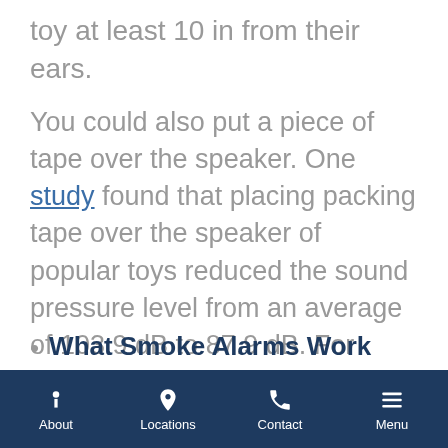toy at least 10 in from their ears.
You could also put a piece of tape over the speaker. One study found that placing packing tape over the speaker of popular toys reduced the sound pressure level from an average of 103.9 dB to 87.9 dB. For more information or to schedule an appointment with a hearing expert, call South Valley Ear, Nose & Throat today.
What Smoke Alarms Work Best for People with Hearing Loss?
Is It Autism or Hearing Loss?
About | Locations | Contact | Menu